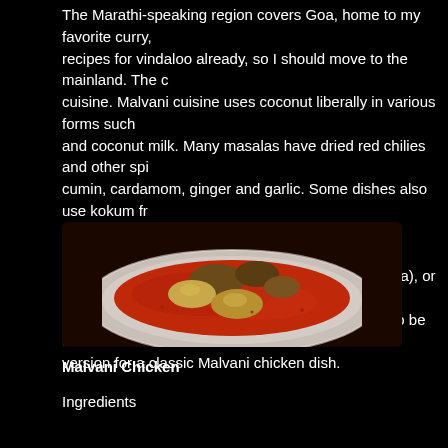The Marathi-speaking region covers Goa, home to my favorite curry, recipes for vindaloo already, so I should move to the mainland. The cuisine. Malvani cuisine uses coconut liberally in various forms such and coconut milk. Many masalas have dried red chilies and other spi cumin, cardamom, ginger and garlic. Some dishes also use kokum fr mango (kairi). The Malvani masala, a form of dried powder masala, is that can be bought commercially (like garam masala), or made at ho This masala is coarsely ground and stored in jars to be used when re version for a classic Malvani chicken dish.
[Figure (photo): A white bowl filled with red Malvani chicken curry with visible chicken pieces in a rich red-orange sauce]
Malvani Chicken
Ingredients